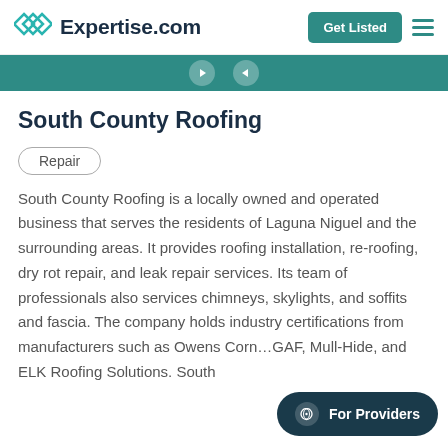Expertise.com
South County Roofing
Repair
South County Roofing is a locally owned and operated business that serves the residents of Laguna Niguel and the surrounding areas. It provides roofing installation, re-roofing, dry rot repair, and leak repair services. Its team of professionals also services chimneys, skylights, and soffits and fascia. The company holds industry certifications from manufacturers such as Owens Corn[ing], GAF, Mull-Hide, and ELK Roofing Solutions. South